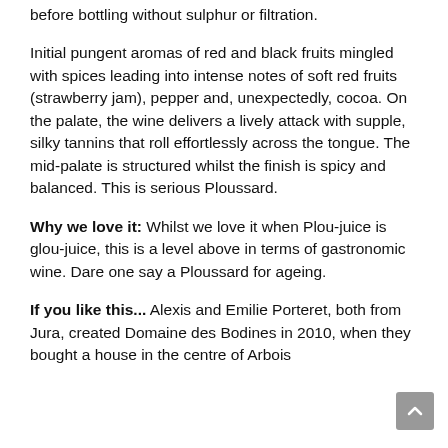before bottling without sulphur or filtration.
Initial pungent aromas of red and black fruits mingled with spices leading into intense notes of soft red fruits (strawberry jam), pepper and, unexpectedly, cocoa. On the palate, the wine delivers a lively attack with supple, silky tannins that roll effortlessly across the tongue. The mid-palate is structured whilst the finish is spicy and balanced. This is serious Ploussard.
Why we love it: Whilst we love it when Plou-juice is glou-juice, this is a level above in terms of gastronomic wine. Dare one say a Ploussard for ageing.
If you like this... Alexis and Emilie Porteret, both from Jura, created Domaine des Bodines in 2010, when they bought a house in the centre of Arbois